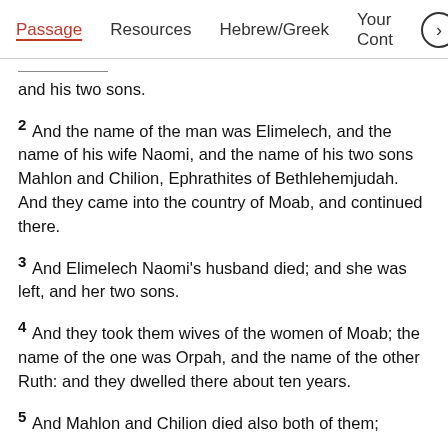Passage   Resources   Hebrew/Greek   Your Cont >
and his two sons.
2 And the name of the man was Elimelech, and the name of his wife Naomi, and the name of his two sons Mahlon and Chilion, Ephrathites of Bethlehemjudah. And they came into the country of Moab, and continued there.
3 And Elimelech Naomi's husband died; and she was left, and her two sons.
4 And they took them wives of the women of Moab; the name of the one was Orpah, and the name of the other Ruth: and they dwelled there about ten years.
5 And Mahlon and Chilion died also both of them;